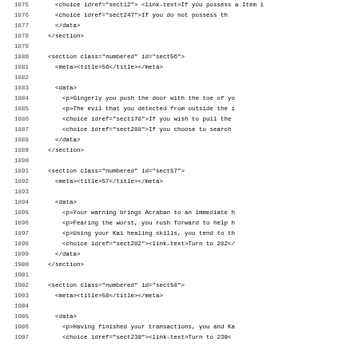Code listing lines 1875-1907 showing XML/markup source for a gamebook with sections sect56, sect57, sect58
[Figure (screenshot): Source code listing of XML gamebook markup showing lines 1875-1907 with section elements, meta titles, data blocks, paragraphs, and choice elements with idrefs]